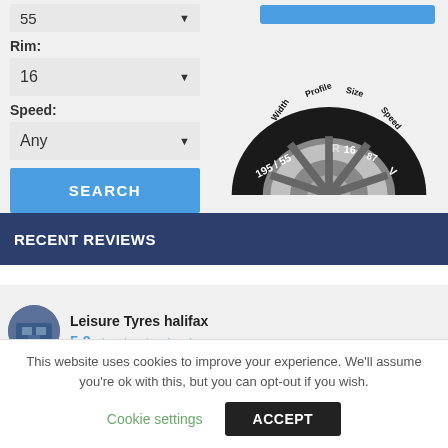Rim:
16
Speed:
Any
SEARCH
[Figure (illustration): Tire diagram showing Width, Profile, Size, Speed labels with '195 / 55 R16 87 V' text on a tire illustration]
RECENT REVIEWS
Leisure Tyres halifax
5.0 ★★★★★
This website uses cookies to improve your experience. We'll assume you're ok with this, but you can opt-out if you wish.
Cookie settings
ACCEPT